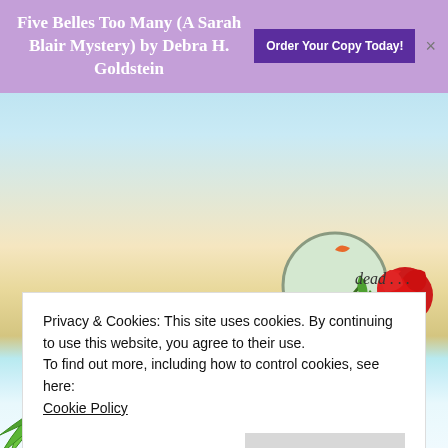Five Belles Too Many (A Sarah Blair Mystery) by Debra H. Goldstein  Order Your Copy Today!
[Figure (screenshot): Website screenshot showing book cover art with a rose illustration, palm leaves on the left, beach/ocean background. Italic text reading 'dead...' visible on right side. Author name 'Kate Dyer-Seeley' in red italic font. 'New Series' text at bottom.]
dead . . .
Kate Dyer-Seeley
Privacy & Cookies: This site uses cookies. By continuing to use this website, you agree to their use.
To find out more, including how to control cookies, see here:
Cookie Policy
Close and accept
New Series